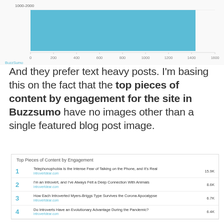[Figure (bar-chart): Top portion of a horizontal bar chart showing content length range 1000-2000 with a teal bar extending to approximately 1350, with x-axis labels 0, 200, 400, 600, 800, 1000, 1200, 1400, 1600. BuzzSumo label at bottom left.]
And they prefer text heavy posts. I'm basing this on the fact that the top pieces of content by engagement for the site in Buzzsumo have no images other than a single featured blog post image.
| # | Title | Value |
| --- | --- | --- |
| 1 | Telephonophobia Is the Intense Fear of Talking on the Phone, and It's Real
introvertdear.com | 15.9K |
| 2 | I'm an Introvert, and I've Always Felt a Deep Connection With Animals
introvertdear.com | 8.6K |
| 3 | How Each Introverted Myers-Briggs Type Survives the Corona Apocalypse
introvertdear.com | 6.7K |
| 4 | Do Introverts Have an Evolutionary Advantage During the Pandemic?
introvertdear.com | 6.4K |